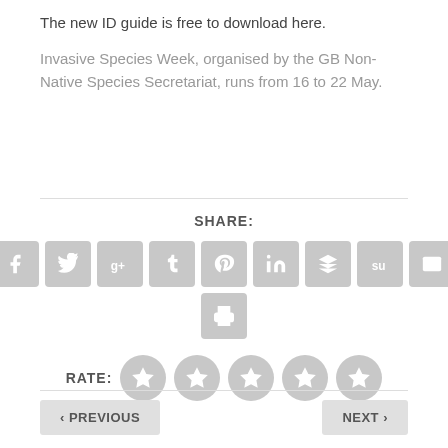The new ID guide is free to download here.
Invasive Species Week, organised by the GB Non-Native Species Secretariat, runs from 16 to 22 May.
[Figure (infographic): Share buttons row with icons for Facebook, Twitter, Google+, Tumblr, Pinterest, LinkedIn, Buffer, StumbleUpon, Email, and a Print button below]
[Figure (infographic): Rating row with 5 grey star circles labeled RATE:]
< PREVIOUS
NEXT >